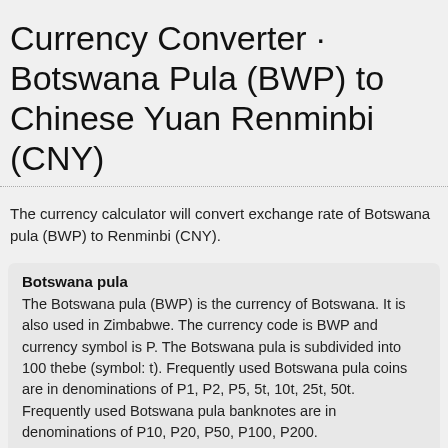Currency Converter · Botswana Pula (BWP) to Chinese Yuan Renminbi (CNY)
The currency calculator will convert exchange rate of Botswana pula (BWP) to Renminbi (CNY).
Botswana pula
The Botswana pula (BWP) is the currency of Botswana. It is also used in Zimbabwe. The currency code is BWP and currency symbol is P. The Botswana pula is subdivided into 100 thebe (symbol: t). Frequently used Botswana pula coins are in denominations of P1, P2, P5, 5t, 10t, 25t, 50t. Frequently used Botswana pula banknotes are in denominations of P10, P20, P50, P100, P200.
Renminbi
The Chinese yuan renminbi (CNY) is the currency of China. The currency code is CNY and currency symbol is ¥. The primary unit of